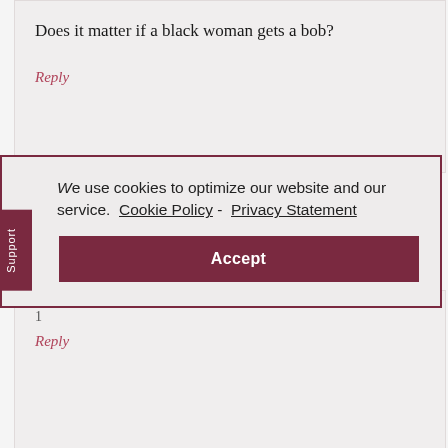Does it matter if a black woman gets a bob?
Reply
We use cookies to optimize our website and our service.  Cookie Policy - Privacy Statement
Accept
Support
1
Reply